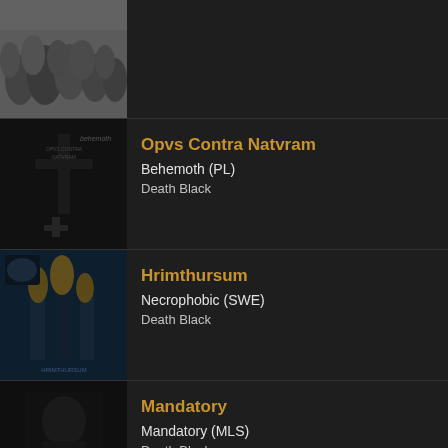[Figure (photo): Partial view of a black and white crowd/band photo at the top, cropped]
[Figure (photo): Behemoth - Opvs Contra Natvram album cover, dark cross imagery]
Opvs Contra Natvram
Behemoth (PL)
Death Black
[Figure (photo): Necrophobic - Hrimthursum album cover, blue/teal dark figures with fire]
Hrimthursum
Necrophobic (SWE)
Death Black
[Figure (photo): Mandatory album cover, dark monochrome figure with band logo]
Mandatory
Mandatory (MLS)
Death Black